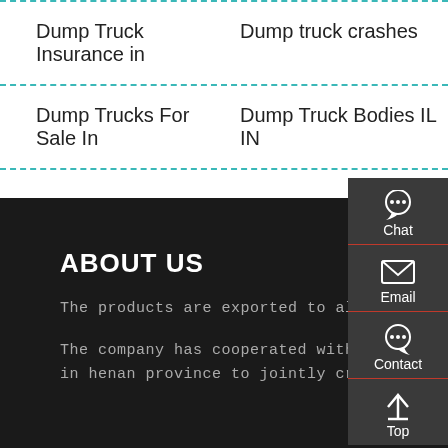Dump Truck Insurance in
Dump truck crashes
Dump Trucks For Sale In
Dump Truck Bodies IL IN
ABOUT US
The products are exported to all over the world.
The company has cooperated with the e-commerce industry incubation base in henan province to jointly create an online and offline